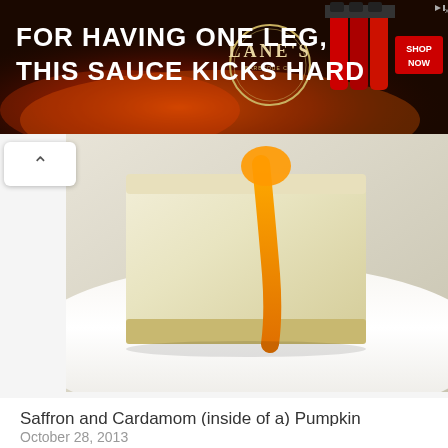[Figure (photo): Advertisement banner: Lane's BBQ sauce ad with text 'FOR HAVING ONE LEG, THIS SAUCE KICKS HARD', Lane's logo, and red SHOP NOW button on dark flame background]
[Figure (photo): Close-up photo of a slice of cheesecake on a white plate with orange drizzle/garnish]
Saffron and Cardamom (inside of a) Pumpkin Cheesecake
October 28, 2013
Disclaimer: There is no pumpkin in the actual cheesecake…
[Figure (photo): Close-up overhead photo of a round apple or pear tart with thinly sliced fruit arranged in a circular pattern with caramel glaze]